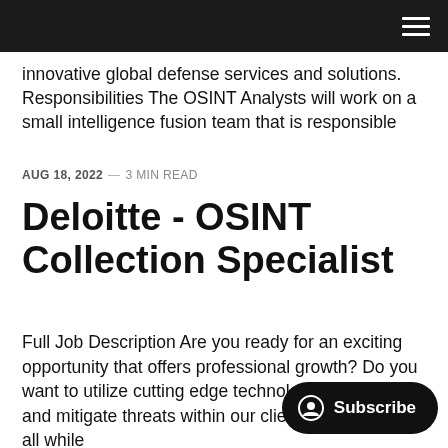innovative global defense services and solutions. Responsibilities The OSINT Analysts will work on a small intelligence fusion team that is responsible
AUG 18, 2022 — 3 MIN READ
Deloitte - OSINT Collection Specialist
Full Job Description Are you ready for an exciting opportunity that offers professional growth? Do you want to utilize cutting edge technology to identify and mitigate threats within our client environments, all while